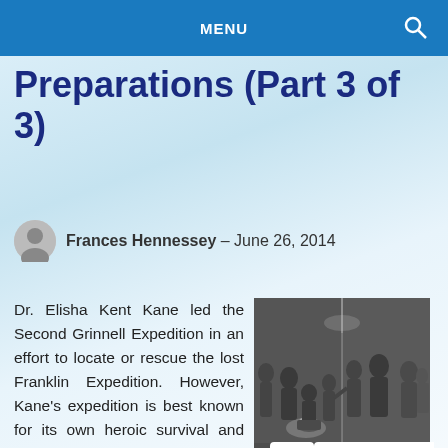MENU
Preparations (Part 3 of 3)
Frances Hennessey – June 26, 2014
Dr. Elisha Kent Kane led the Second Grinnell Expedition in an effort to locate or rescue the lost Franklin Expedition. However, Kane's expedition is best known for its own heroic survival and eventual eighty-
[Figure (illustration): Black and white historical illustration of a group of people gathered around a fire or cooking pot in a dimly lit scene, possibly depicting arctic expedition life.]
"Life in the Brig: